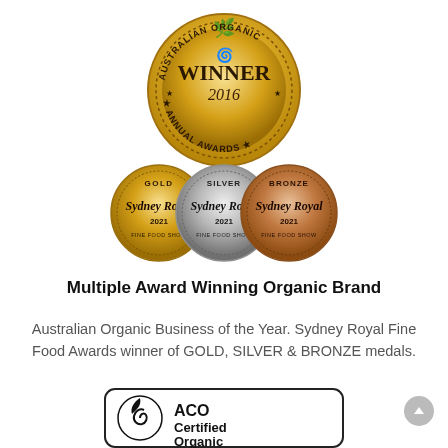[Figure (illustration): Australian Organic Annual Awards gold medal badge with 'WINNER 2016' text and organic spiral logo]
[Figure (illustration): Three Sydney Royal Fine Food Show medals: Gold (2021), Silver (2021), Bronze (2021)]
Multiple Award Winning Organic Brand
Australian Organic Business of the Year. Sydney Royal Fine Food Awards winner of GOLD, SILVER & BRONZE medals.
[Figure (logo): ACO Certified Organic logo with spiral leaf icon and rounded rectangle border, text reads ACO Certified Organic]